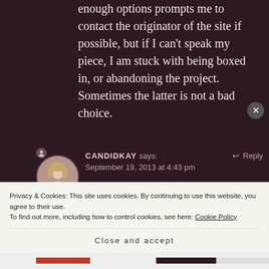enough options prompts me to contact the originator of the site if possible, but if I can't speak my piece, I am stuck with being boxed in, or abandoning the project. Sometimes the latter is not a bad choice.
CANDIDKAY says: September 19, 2013 at 4:43 pm
I think as we become more and more
Privacy & Cookies: This site uses cookies. By continuing to use this website, you agree to their use. To find out more, including how to control cookies, see here: Cookie Policy
Close and accept